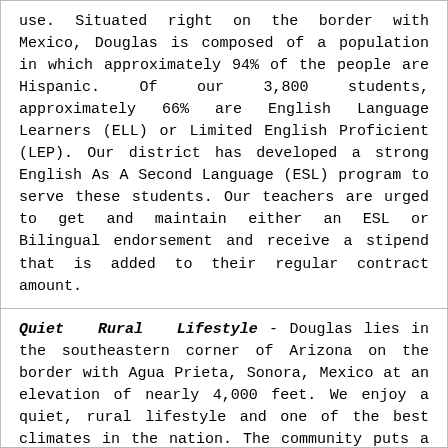use. Situated right on the border with Mexico, Douglas is composed of a population in which approximately 94% of the people are Hispanic. Of our 3,800 students, approximately 66% are English Language Learners (ELL) or Limited English Proficient (LEP). Our district has developed a strong English As A Second Language (ESL) program to serve these students. Our teachers are urged to get and maintain either an ESL or Bilingual endorsement and receive a stipend that is added to their regular contract amount.
Quiet Rural Lifestyle - Douglas lies in the southeastern corner of Arizona on the border with Agua Prieta, Sonora, Mexico at an elevation of nearly 4,000 feet. We enjoy a quiet, rural lifestyle and one of the best climates in the nation. The community puts a high priority on education and its supportive attitude is evidenced in the programs and partnerships shared.
Team Environment - Unlike the community that can